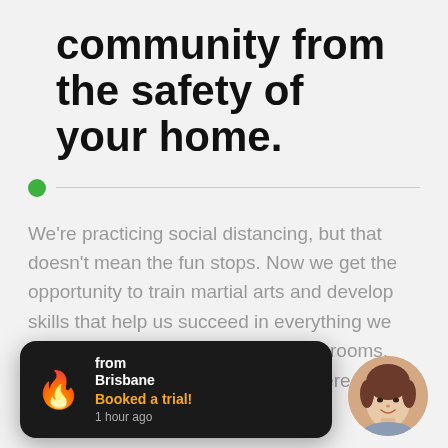community from the safety of your home.
[Figure (infographic): Green dot with horizontal divider line]
We're practicing social distancing, but that doesn't mean the fun stops. Now we get the opportunity to train martial arts and develop skills that help us succeed in everything we do, all from the comfort of our living rooms, whether that's in Wishart, or anywhere in the world
[Figure (infographic): Dark notification card with flame emoji showing 'from Brisbane - Booked a trial! - 1 hour ago']
[Figure (photo): Circular avatar photo of a woman with short brown hair, smiling]